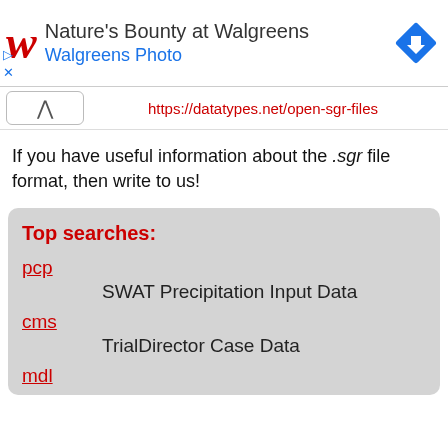[Figure (screenshot): Walgreens ad banner with red W logo, text 'Nature's Bounty at Walgreens' and 'Walgreens Photo', and a blue diamond navigation icon]
https://datatypes.net/open-sgr-files
If you have useful information about the .sgr file format, then write to us!
Top searches:
pcp
SWAT Precipitation Input Data
cms
TrialDirector Case Data
mdl